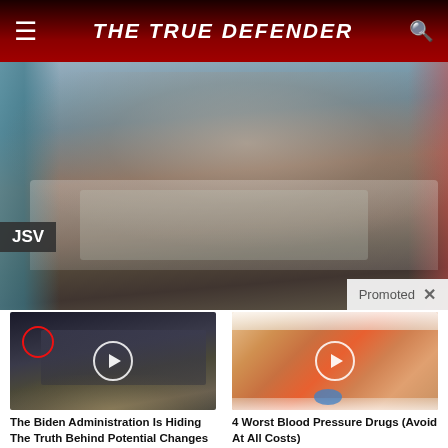THE TRUE DEFENDER
[Figure (photo): Person lying in a hospital bed with breathing tube/oxygen mask, wearing a medical gown. 'JSV' label in bottom left, 'Promoted X' overlay in bottom right.]
[Figure (photo): Group of men in suits at what appears to be CIA headquarters, with a red circle highlighting one figure and a play button overlay.]
The Biden Administration Is Hiding The Truth Behind Potential Changes To US Dollar
🔥 5,898
[Figure (photo): Close-up of an open mouth with a tongue sticking out holding a blue pill/tablet, with a play button overlay.]
4 Worst Blood Pressure Drugs (Avoid At All Costs)
🔥 59,745